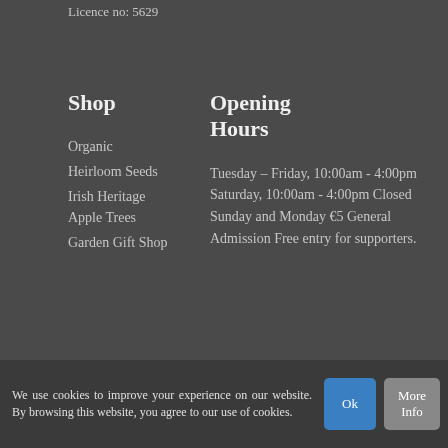Licence no: 5629
Shop
Opening Hours
Organic
Heirloom Seeds
Irish Heritage Apple Trees
Garden Gift Shop
Tuesday – Friday, 10:00am - 4:00pm Saturday, 10:00am - 4:00pm Closed Sunday and Monday €5 General Admission Free entry for supporters.
We use cookies to improve your experience on our website. By browsing this website, you agree to our use of cookies.
Ok
More Info